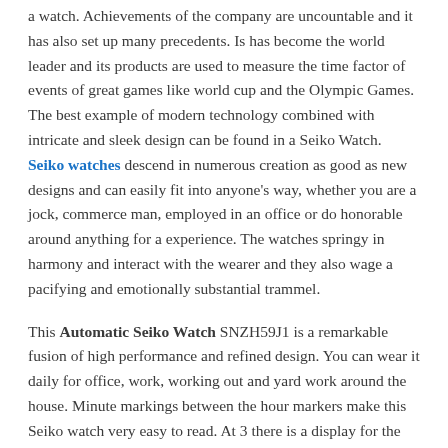a watch. Achievements of the company are uncountable and it has also set up many precedents. Is has become the world leader and its products are used to measure the time factor of events of great games like world cup and the Olympic Games. The best example of modern technology combined with intricate and sleek design can be found in a Seiko Watch. Seiko watches descend in numerous creation as good as new designs and can easily fit into anyone's way, whether you are a jock, commerce man, employed in an office or do honorable around anything for a experience. The watches springy in harmony and interact with the wearer and they also wage a pacifying and emotionally substantial trammel.
This Automatic Seiko Watch SNZH59J1 is a remarkable fusion of high performance and refined design. You can wear it daily for office, work, working out and yard work around the house. Minute markings between the hour markers make this Seiko watch very easy to read. At 3 there is a display for the day of the week and the date. Plus luminous hands and markers make it also very easy to read in dark. The dial is Seiko sports in black